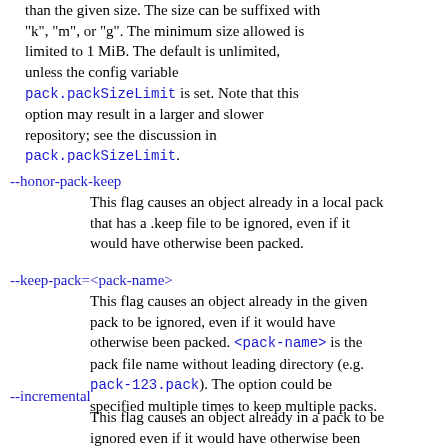than the given size. The size can be suffixed with "k", "m", or "g". The minimum size allowed is limited to 1 MiB. The default is unlimited, unless the config variable pack.packSizeLimit is set. Note that this option may result in a larger and slower repository; see the discussion in pack.packSizeLimit.
--honor-pack-keep
This flag causes an object already in a local pack that has a .keep file to be ignored, even if it would have otherwise been packed.
--keep-pack=<pack-name>
This flag causes an object already in the given pack to be ignored, even if it would have otherwise been packed. <pack-name> is the pack file name without leading directory (e.g. pack-123.pack). The option could be specified multiple times to keep multiple packs.
--incremental
This flag causes an object already in a pack to be ignored even if it would have otherwise been packed.